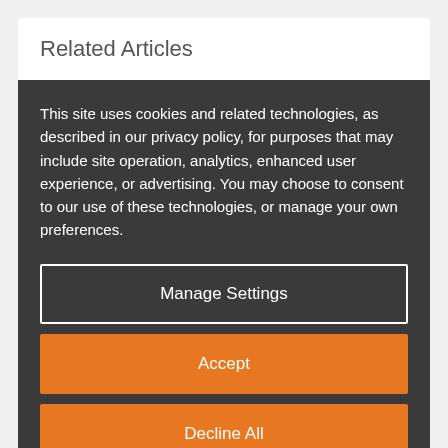Related Articles
This site uses cookies and related technologies, as described in our privacy policy, for purposes that may include site operation, analytics, enhanced user experience, or advertising. You may choose to consent to our use of these technologies, or manage your own preferences.
Manage Settings
Accept
Decline All
Privacy Policy